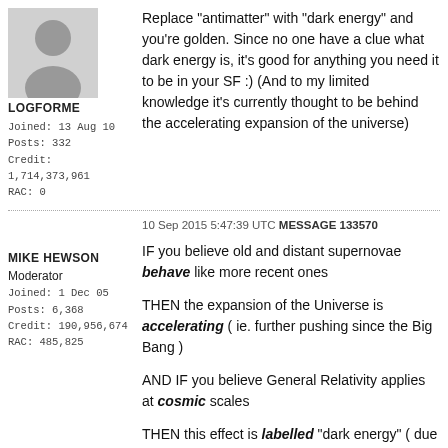[Figure (illustration): Generic grey avatar silhouette of a person]
LOGFORME
Joined: 13 Aug 10
Posts: 332
Credit: 1,714,373,961
RAC: 0
Replace "antimatter" with "dark energy" and you're golden. Since no one have a clue what dark energy is, it's good for anything you need it to be in your SF :) (And to my limited knowledge it's currently thought to be behind the accelerating expansion of the universe)
10 Sep 2015 5:47:39 UTC MESSAGE 133570
MIKE HEWSON
Moderator
Joined: 1 Dec 05
Posts: 6,368
Credit: 190,956,674
RAC: 485,825
IF you believe old and distant supernovae behave like more recent ones
THEN the expansion of the Universe is accelerating ( ie. further pushing since the Big Bang )
AND IF you believe General Relativity applies at cosmic scales
THEN this effect is labelled "dark energy" ( due to the position of a factor in the GR